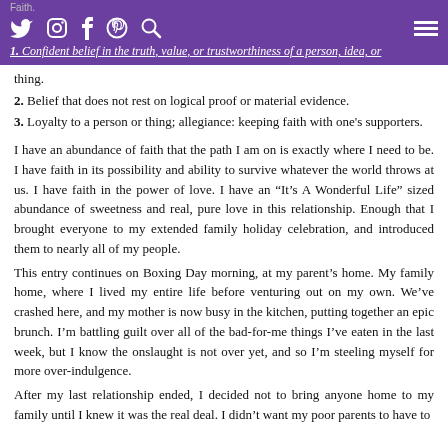Faith.
1. Confident belief in the truth, value, or trustworthiness of a person, idea, or thing.
2. Belief that does not rest on logical proof or material evidence.
3. Loyalty to a person or thing; allegiance: keeping faith with one’s supporters.
I have an abundance of faith that the path I am on is exactly where I need to be. I have faith in its possibility and ability to survive whatever the world throws at us. I have faith in the power of love. I have an “It’s A Wonderful Life” sized abundance of sweetness and real, pure love in this relationship. Enough that I brought everyone to my extended family holiday celebration, and introduced them to nearly all of my people.
This entry continues on Boxing Day morning, at my parent’s home. My family home, where I lived my entire life before venturing out on my own. We’ve crashed here, and my mother is now busy in the kitchen, putting together an epic brunch. I’m battling guilt over all of the bad-for-me things I’ve eaten in the last week, but I know the onslaught is not over yet, and so I’m steeling myself for more over-indulgence.
After my last relationship ended, I decided not to bring anyone home to my family until I knew it was the real deal. I didn’t want my poor parents to have to